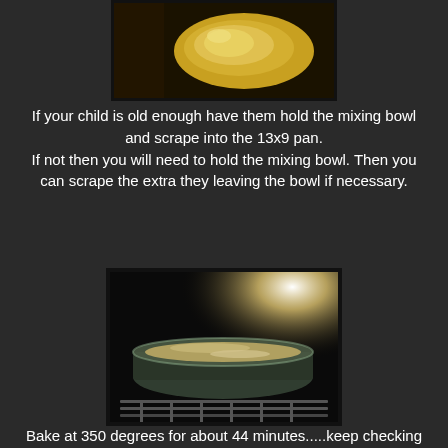[Figure (photo): Partial view of a bowl or plate with a yellow/golden colored food item, taken from above in warm lighting, shown at the top of the page.]
If your child is old enough have them hold the mixing bowl and scrape into the 13x9 pan.
If not then you will need to hold the mixing bowl. Then you can scrape the extra they leaving the bowl if necessary.
[Figure (photo): A baking dish with batter or dough being placed in an oven, photographed in dark lighting with a bright light source visible in the upper right corner.]
Bake at 350 degrees for about 44 minutes.....keep checking by poking a fork in the middle if it comes out clean then it is done but if it is sticky then it still needs more time.